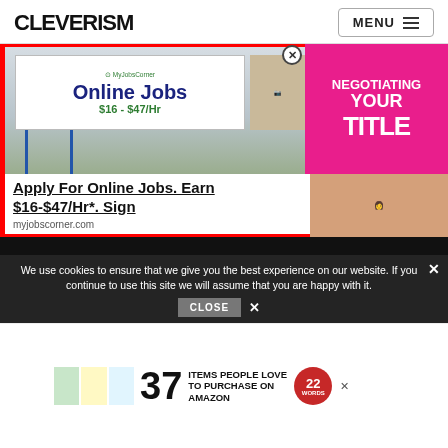CLEVERISM | MENU
[Figure (screenshot): Advertisement billboard showing 'Online Jobs $16 - $47/Hr' with MyJobsCorner logo and a woman working at a laptop. Billboard is displayed on a large outdoor sign structure in a parking lot.]
Apply For Online Jobs. Earn $16-$47/Hr*. Sign
myjobscorner.com
[Figure (photo): Woman with blonde hair in a black blazer in front of a pink background with text 'NEGOTIATING YOUR TITLE']
We use cookies to ensure that we give you the best experience on our website. If you continue to use this site we will assume that you are happy with it.
[Figure (screenshot): Bottom advertisement banner showing '37 Items People Love to Purchase on Amazon' with a 22words badge]